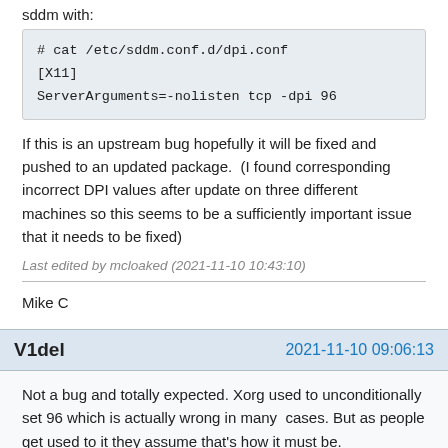sddm with:
# cat /etc/sddm.conf.d/dpi.conf
[X11]
ServerArguments=-nolisten tcp -dpi 96
If this is an upstream bug hopefully it will be fixed and pushed to an updated package.  (I found corresponding incorrect DPI values after update on three different machines so this seems to be a sufficiently important issue that it needs to be fixed)
Last edited by mcloaked (2021-11-10 10:43:10)
Mike C
V1del
2021-11-10 09:06:13
Not a bug and totally expected. Xorg used to unconditionally set 96 which is actually wrong in many  cases. But as people get used to it they assume that's how it must be.
Proof: https://dpi.lv/#15.5%E2%80%B3
If you want to restore the old behaviour explicitly setting it is not a